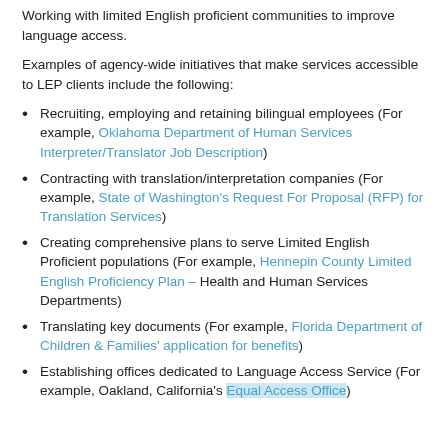Working with limited English proficient communities to improve language access.
Examples of agency-wide initiatives that make services accessible to LEP clients include the following:
Recruiting, employing and retaining bilingual employees (For example, Oklahoma Department of Human Services Interpreter/Translator Job Description)
Contracting with translation/interpretation companies (For example, State of Washington's Request For Proposal (RFP) for Translation Services)
Creating comprehensive plans to serve Limited English Proficient populations (For example, Hennepin County Limited English Proficiency Plan – Health and Human Services Departments)
Translating key documents (For example, Florida Department of Children & Families' application for benefits)
Establishing offices dedicated to Language Access Service (For example, Oakland, California's Equal Access Office)